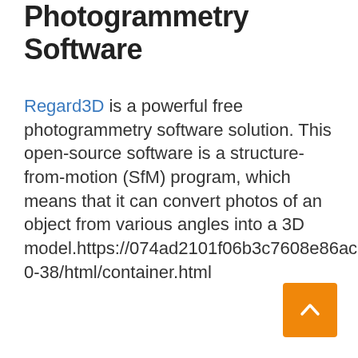Photogrammetry Software
Regard3D is a powerful free photogrammetry software solution. This open-source software is a structure-from-motion (SfM) program, which means that it can convert photos of an object from various angles into a 3D model.https://074ad2101f06b3c7608e86ac650bbe5b.safeframe.googlesyndication.com/safeframe/1-0-38/html/container.html